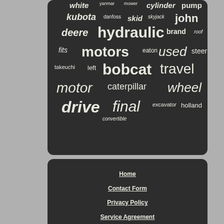[Figure (infographic): Word cloud / tag cloud on dark background showing terms related to hydraulic motors and equipment: white, yanmar, mower, cylinder, pump, kubota, danfoss, skid, skyjack, john, deere, hydraulic, brand, roof, fits, motors, eaton, used, steer, takeuchi, left, bobcat, travel, motor, caterpillar, wheel, drive, final, excavator, holland, convertible]
Home
Contact Form
Privacy Policy
Service Agreement